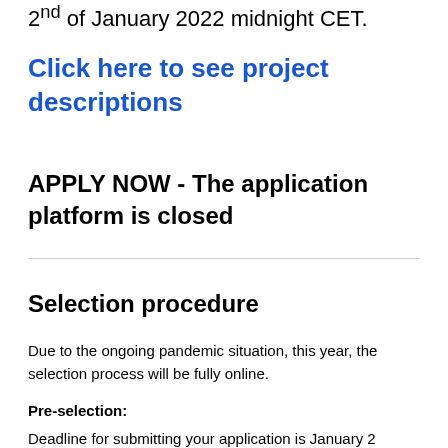2nd of January 2022 midnight CET.
Click here to see project descriptions
APPLY NOW - The application platform is closed
Selection procedure
Due to the ongoing pandemic situation, this year, the selection process will be fully online.
Pre-selection:
Deadline for submitting your application is January 2